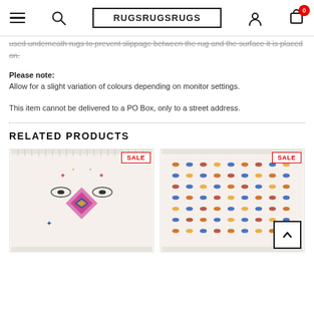RUGSRUGSRUGS
used underneath rugs to prevent slippage between the rug and the surface it is placed on.
Please note:
Allow for a slight variation of colours depending on monitor settings.
This item cannot be delivered to a PO Box, only to a street address.
RELATED PRODUCTS
[Figure (photo): Product image of a decorative rug with pink, orange and blue geometric/Aztec pattern on cream background, with SALE badge]
[Figure (photo): Product image of a cream rug with multicoloured dot/geometric pattern, with SALE badge and back-to-top button overlay]